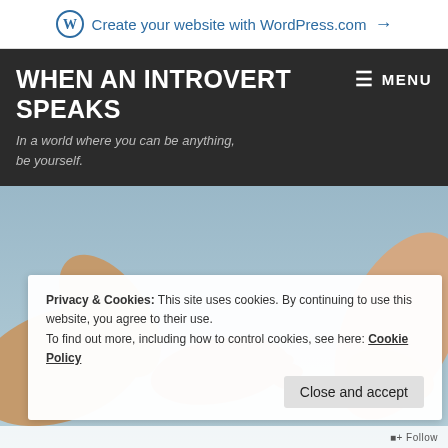Create your website with WordPress.com →
WHEN AN INTROVERT SPEAKS
In a world where you can be anything, be yourself.
[Figure (photo): Two hands reaching toward each other against a grey-blue sky background, with a cookie consent banner overlay.]
Privacy & Cookies: This site uses cookies. By continuing to use this website, you agree to their use.
To find out more, including how to control cookies, see here: Cookie Policy
Close and accept